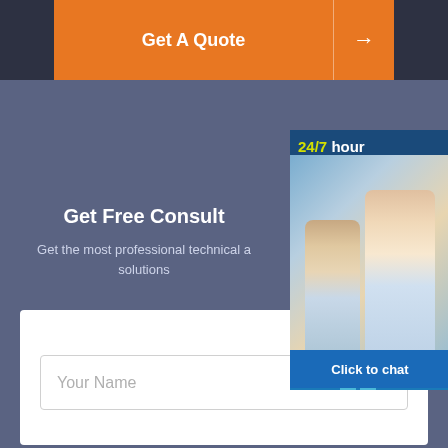Get A Quote →
[Figure (screenshot): Customer support widget showing '24/7 hour' label, photo of two support agents with headsets, three blue icon buttons (headset, phone, Skype), and a 'Click to chat' bar]
Get Free Consult
Get the most professional technical and solutions
Your Name